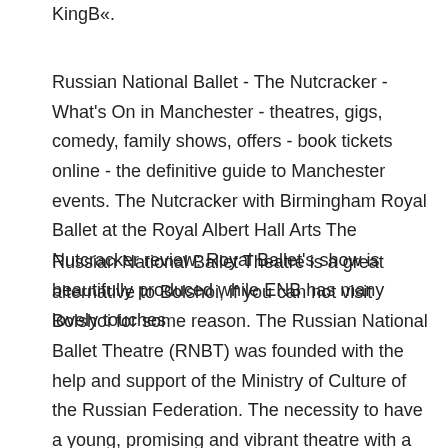KingB«.
Russian National Ballet - The Nutcracker - What's On in Manchester - theatres, gigs, comedy, family shows, offers - book tickets online - the definitive guide to Manchester events. The Nutcracker with Birmingham Royal Ballet at the Royal Albert Hall Arts The Nutcracker review: Royal Ballet's show is beautifully produced while ENB has many lovely touches
Russian National Ballet Theatre is a great alternative to Bolshoi, if you can not visit Bolshoi for some reason. The Russian National Ballet Theatre (RNBT) was founded with the help and support of the Ministry of Culture of the Russian Federation. The necessity to have a young, promising and vibrant theatre with a unique potential in both kinds 05/05/2019В В· We recommend booking Russian Ballet Theatre tours ahead of time to secure your spot. If you book